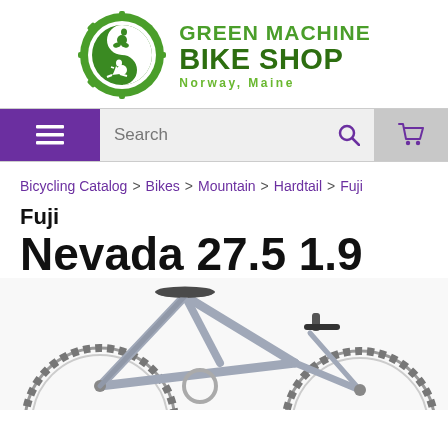[Figure (logo): Green Machine Bike Shop logo with gear/yin-yang circle icon containing cyclist and skier silhouettes, green text reading GREEN MACHINE BIKE SHOP, Norway, Maine]
[Figure (screenshot): Navigation bar with purple hamburger menu button, search field, search icon, and shopping cart icon]
Bicycling Catalog > Bikes > Mountain > Hardtail > Fuji
Fuji Nevada 27.5 1.9
[Figure (photo): Partial photo of a Fuji Nevada 27.5 1.9 mountain bike, gray/silver color, showing seat, handlebars, frame, and front wheel with knobby tire]